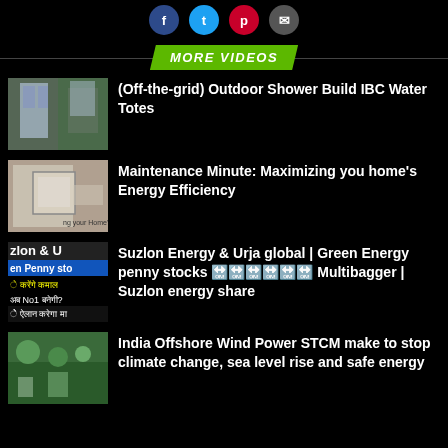Social media share icons (Facebook, Twitter, Pinterest, Email)
MORE VIDEOS
[Figure (photo): Thumbnail of outdoor IBC water totes shower build]
(Off-the-grid) Outdoor Shower Build IBC Water Totes
[Figure (photo): Thumbnail of person pointing at thermostat/energy display]
Maintenance Minute: Maximizing you home's Energy Efficiency
[Figure (photo): Thumbnail with text: zlon & U, en Penny sto, करेंगे कमाल, अब No1 बनेगी?, ऐलान करेगा मा]
Suzlon Energy & Urja global | Green Energy penny stocks 🔛🔛🔛🔛🔛🔛 Multibagger | Suzlon energy share
[Figure (photo): Thumbnail of garden/outdoor wind energy scene with people]
India Offshore Wind Power STCM make to stop climate change, sea level rise and safe energy